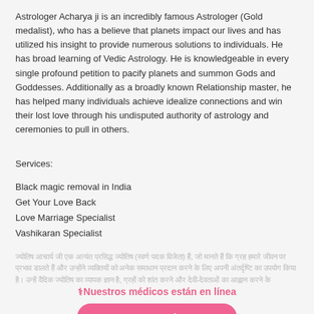Astrologer Acharya ji is an incredibly famous Astrologer (Gold medalist), who has a believe that planets impact our lives and has utilized his insight to provide numerous solutions to individuals. He has broad learning of Vedic Astrology. He is knowledgeable in every single profound petition to pacify planets and summon Gods and Goddesses. Additionally as a broadly known Relationship master, he has helped many individuals achieve idealize connections and win their lost love through his undisputed authority of astrology and ceremonies to pull in others.
Services:
Black magic removal in India
Get Your Love Back
Love Marriage Specialist
Vashikaran Specialist
ज्योतिष आचार्य जी एक अत्यंत प्रसिद्ध ज्योतिष (स्वर्ण पदक विजेता) हैं, जो मानते हैं कि ग्रह हमारे जीवन पर प्रभाव डालते हैं और उन्होंने व्यक्तियों को अनेक समाधान प्रदान करने के लिए अपनी अंतर्दृष्टि का उपयोग किया है। उन्हें वैदिक ज्योतिष का व्यापक ज्ञान है, ग्रहों को शांत करने और देवी-देवताओं का आह्वान करने के
⚕Nuestros médicos están en línea
Pregunta Ahora